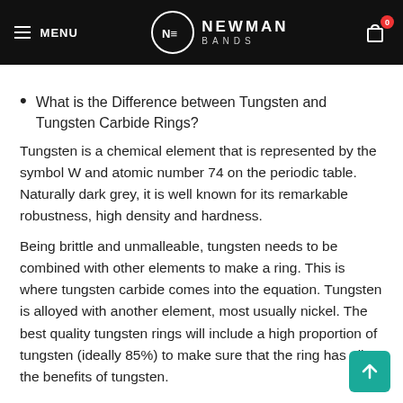MENU | NEWMAN BANDS | 0
What is the Difference between Tungsten and Tungsten Carbide Rings?
Tungsten is a chemical element that is represented by the symbol W and atomic number 74 on the periodic table. Naturally dark grey, it is well known for its remarkable robustness, high density and hardness.
Being brittle and unmalleable, tungsten needs to be combined with other elements to make a ring. This is where tungsten carbide comes into the equation. Tungsten is alloyed with another element, most usually nickel. The best quality tungsten rings will include a high proportion of tungsten (ideally 85%) to make sure that the ring has all the benefits of tungsten.